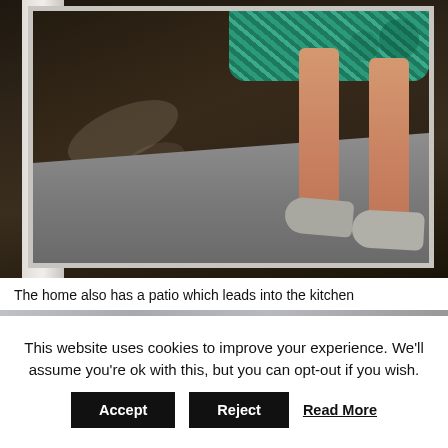[Figure (photo): A person standing in or near a sliding glass door, viewed from the knees down. They are wearing fuzzy grey slippers and a teal/green patterned dress. The reflection shows a dark wood floor and grey rug. A white door frame is visible on the left side.]
The home also has a patio which leads into the kitchen
[Figure (photo): Partial view of another interior photo, showing grey/blue toned surfaces, mostly cropped.]
This website uses cookies to improve your experience. We'll assume you're ok with this, but you can opt-out if you wish.
Accept   Reject   Read More